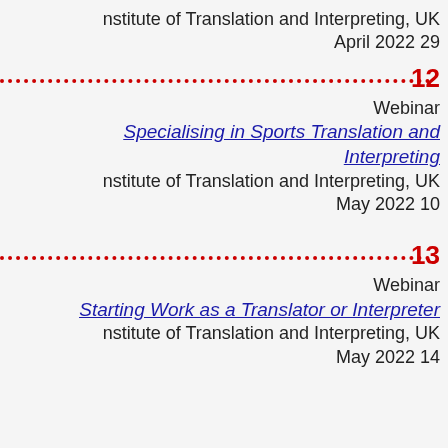Institute of Translation and Interpreting, UK April 2022 29
12 Webinar Specialising in Sports Translation and Interpreting Institute of Translation and Interpreting, UK May 2022 10
13 Webinar Starting Work as a Translator or Interpreter Institute of Translation and Interpreting, UK May 2022 14